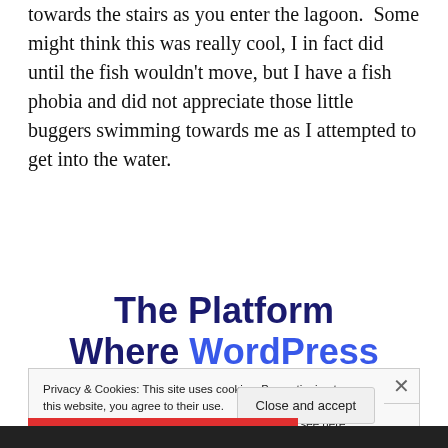towards the stairs as you enter the lagoon.  Some might think this was really cool, I in fact did until the fish wouldn't move, but I have a fish phobia and did not appreciate those little buggers swimming towards me as I attempted to get into the water.
[Figure (infographic): Advertisement banner: 'The Platform Where WordPress Works Best' with 'WordPress' and 'Best' in blue and the rest in dark navy bold text.]
Privacy & Cookies: This site uses cookies. By continuing to use this website, you agree to their use.
To find out more, including how to control cookies, see here: Cookie Policy
Close and accept